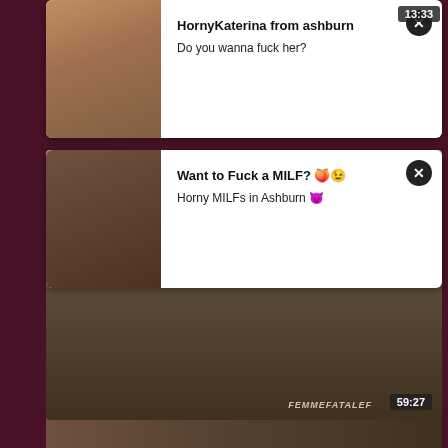[Figure (screenshot): Ad popup overlay showing a woman in a bikini with text 'HornyKaterina from ashburn' and 'Do you wanna fuck her?' with a close button and timestamp badge 13:33]
[Figure (screenshot): Ad popup overlay showing a woman in lingerie with text 'Want to Fuck a MILF? 🍑😉' and 'Horny MILFs in Ashburn 😈' with a close button]
[Figure (screenshot): Video thumbnail showing two people in a kitchen with FemmeFataleF watermark and 59:27 duration badge]
Mistress Eleise - House Training BravoTube anal
11703
[Figure (screenshot): Bottom partial video thumbnail strip]